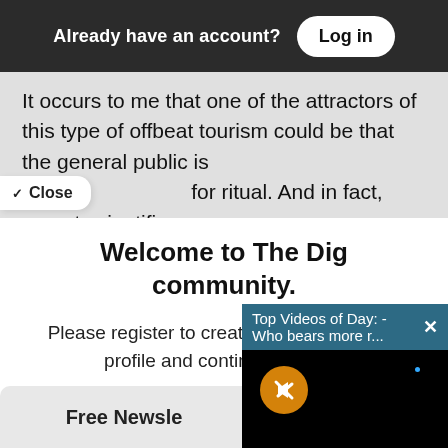Already have an account?  Log in
It occurs to me that one of the attractors of this type of offbeat tourism could be that the general public is for ritual. And in fact, recent scientific
Close
Welcome to The Dig community.
Please register to create your secure user profile and continue reading.
Unlike media run by billionaires and hedge funds, we do not... believe in access... of the last free m...
[Figure (screenshot): Video player overlay showing title bar 'Top Videos of Day: - Who bears more r...' with close X button, black video area with orange mute button icon and small blue dot]
Free Newsle